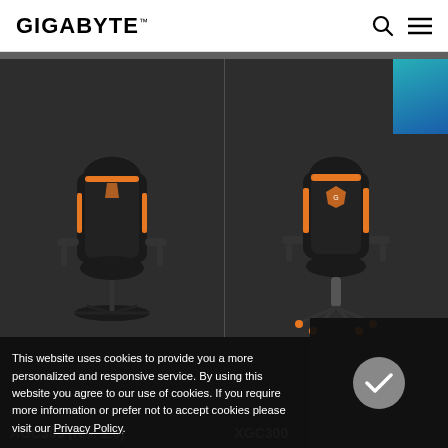GIGABYTE
[Figure (photo): Two gaming chairs displayed side by side on dark background. Left chair: AORUS branded gaming chair (AGC300 rev 1.0), black with orange accents. Right chair: XGC300, black with orange accents.]
AGC300 (rev. 1.0)
XGC300
This website uses cookies to provide you a more personalized and responsive service. By using this website you agree to our use of cookies. If you require more information or prefer not to accept cookies please visit our Privacy Policy.
ACERCA DE GIGABYTE